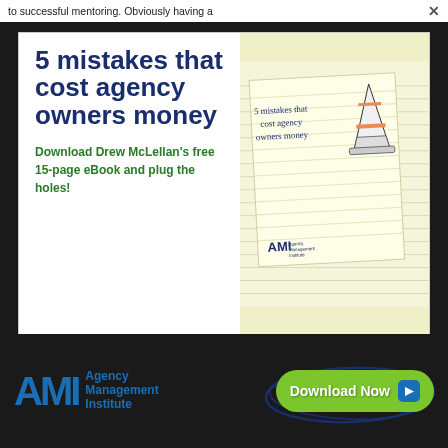to successful mentoring. Obviously having a
[Figure (illustration): AMI advertisement banner showing '5 mistakes that cost agency owners money' with a notepad illustration and traffic cone drawing. Includes 'Download Drew McLellan's free 15-page eBook and plug the holes!' text.]
5 mistakes that cost agency owners money
Download Drew McLellan's free 15-page eBook and plug the holes!
[Figure (illustration): Notepad card with handwritten text '5 mistakes that cost agency owners money' and a traffic cone drawing. AMI Agency Management Institute logo at bottom.]
[Figure (logo): AMI Agency Management Institute logo in blue at bottom left]
Download Now